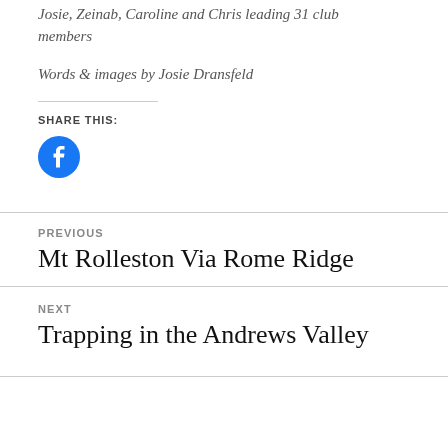Josie, Zeinab, Caroline and Chris leading 31 club members
Words & images by Josie Dransfeld
SHARE THIS:
[Figure (logo): Facebook share icon — blue circle with white Facebook 'f' logo]
PREVIOUS
Mt Rolleston Via Rome Ridge
NEXT
Trapping in the Andrews Valley